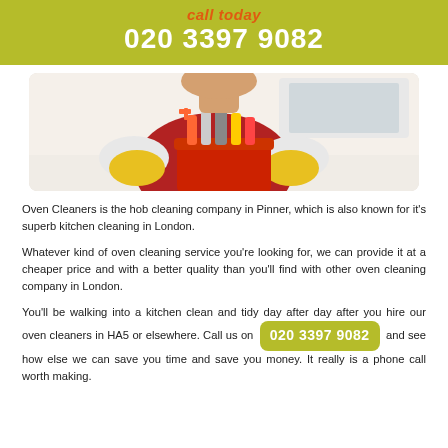call today
020 3397 9082
[Figure (photo): Person wearing red apron and yellow gloves holding a red bucket filled with cleaning supplies and spray bottles]
Oven Cleaners is the hob cleaning company in Pinner, which is also known for it's superb kitchen cleaning in London.
Whatever kind of oven cleaning service you're looking for, we can provide it at a cheaper price and with a better quality than you'll find with other oven cleaning company in London.
You'll be walking into a kitchen clean and tidy day after day after you hire our oven cleaners in HA5 or elsewhere. Call us on 020 3397 9082 and see how else we can save you time and save you money. It really is a phone call worth making.